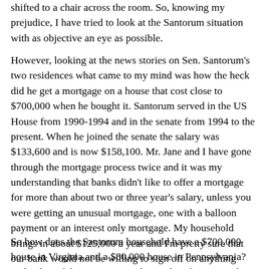shifted to a chair across the room. So, knowing my prejudice, I have tried to look at the Santorum situation with as objective an eye as possible.
However, looking at the news stories on Sen. Santorum's two residences what came to my mind was how the heck did he get a mortgage on a house that cost close to $700,000 when he bought it. Santorum served in the US House from 1990-1994 and in the senate from 1994 to the present. When he joined the senate the salary was $133,600 and is now $158,100. Mr. Jane and I have gone through the mortgage process twice and it was my understanding that banks didn't like to offer a mortgage for more than about two or three year's salary, unless you were getting an unusual mortgage, one with a balloon payment or an interest only mortgage. My household brings in about $125,000 a year and I'm pretty sure that our bank would not be willing to sign off on anything more than a $300,000 mortgage if that.
So how does the Santorum household have a $700,000 house in Virginia and a $80,000 house in Pennsylvania? Did either of the Santorum's inherit a lot of money to be used as a large down payment? Santorum himself didn't practice la...